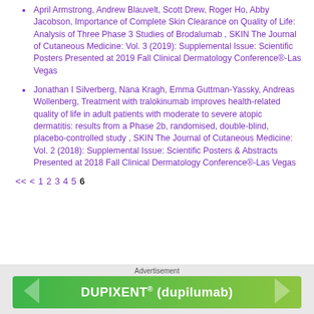April Armstrong, Andrew Blauvelt, Scott Drew, Roger Ho, Abby Jacobson, Importance of Complete Skin Clearance on Quality of Life: Analysis of Three Phase 3 Studies of Brodalumab , SKIN The Journal of Cutaneous Medicine: Vol. 3 (2019): Supplemental Issue: Scientific Posters Presented at 2019 Fall Clinical Dermatology Conference®-Las Vegas
Jonathan I Silverberg, Nana Kragh, Emma Guttman-Yassky, Andreas Wollenberg, Treatment with tralokinumab improves health-related quality of life in adult patients with moderate to severe atopic dermatitis: results from a Phase 2b, randomised, double-blind, placebo-controlled study , SKIN The Journal of Cutaneous Medicine: Vol. 2 (2018): Supplemental Issue: Scientific Posters & Abstracts Presented at 2018 Fall Clinical Dermatology Conference®-Las Vegas
<< < 1 2 3 4 5 6
[Figure (other): Advertisement banner for DUPIXENT® (dupilumab) with green gradient background and chevron arrows]